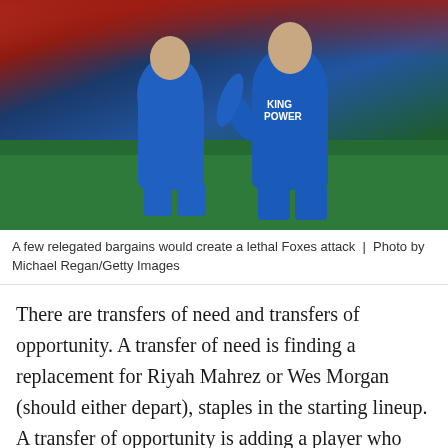[Figure (photo): Two Leicester City footballers in blue King Power jerseys celebrating on a football pitch]
A few relegated bargains would create a lethal Foxes attack | Photo by Michael Regan/Getty Images
There are transfers of need and transfers of opportunity. A transfer of need is finding a replacement for Riyah Mahrez or Wes Morgan (should either depart), staples in the starting lineup. A transfer of opportunity is adding a player who might not otherwise have been available, or who is available for far less money than he would normally go for on the open market. The relegation of three recent Premier League fixtures in Stoke City, Swansea City, and West Bromwich Albion has provided Leicester City with